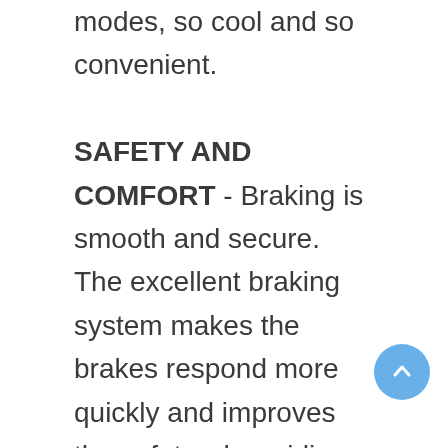modes, so cool and so convenient. SAFETY AND COMFORT - Braking is smooth and secure. The excellent braking system makes the brakes respond more quickly and improves the safety when riding. The front and rear shock absorbers provides maximum rider comfort. Meanwhile, detachable seat is also more comfortable and free. ONE-STEP FOLD DESIGN & 3 CRUISE SPEEDS CONTROL: With 1-second foot-actuated folding, the electric scooter can be quickly collapsed. After folding, the EVERCROSS electric scooter can be carried one-hand, making it a perfect commute